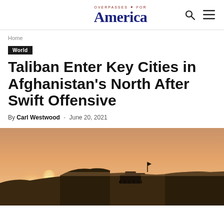OVERPASSES FOR America
Home
World
Taliban Enter Key Cities in Afghanistan's North After Swift Offensive
By Carl Westwood - June 20, 2021
[Figure (photo): Military vehicle silhouetted against a hazy orange/amber sunset over a desert landscape in Afghanistan]